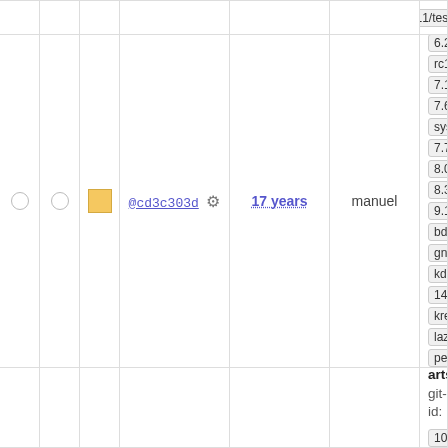|  |  | color | hash | age | author | tags/branches |
| --- | --- | --- | --- | --- | --- | --- |
|  |  |  |  |  |  | xry111/test-2... |
| ○ | ○ | ■ | @cd3c303d ⚙ | 17 years | manuel | Tagged conf...
git-svn-id: ...
10.1 11.0 11.2 6.1 6.2.0 6.2.0 6.2.0-rc2 6... rc1 6.3-rc2 7.10 7.4 7.6 7.6-blfs systemd 7.7 7.9 8.0 8... 8.2 8.3 8... 9.0 9.1 b... bdubbs/svn gnome kde kde5-14269 14686 krejzi... lazarus no... perl-modules qt5new sys... 11177 syste... 13485 trunk upgradedb xry111/intltoo... xry111/test-2... |
|  |  |  |  |  |  | Tagged arts...
git-svn-id: ...
10.1 11.0 |